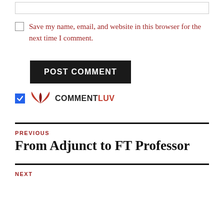Save my name, email, and website in this browser for the next time I comment.
POST COMMENT
[Figure (logo): CommentLuv logo with checked checkbox, red wing icon, and text COMMENTLUV]
PREVIOUS
From Adjunct to FT Professor
NEXT